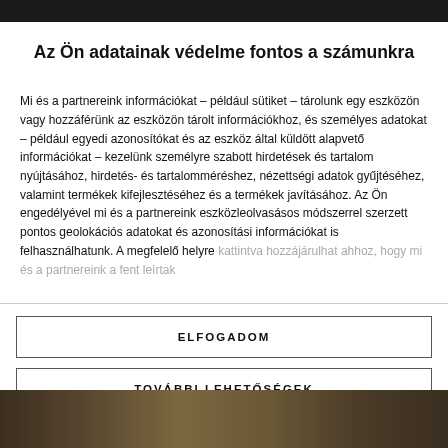Az Ön adatainak védelme fontos a számunkra
Mi és a partnereink információkat – például sütiket – tárolunk egy eszközön vagy hozzáférünk az eszközön tárolt információkhoz, és személyes adatokat – például egyedi azonosítókat és az eszköz által küldött alapvető információkat – kezelünk személyre szabott hirdetések és tartalom nyújtásához, hirdetés- és tartalomméréshez, nézettségi adatok gyűjtéséhez, valamint termékek kifejlesztéséhez és a termékek javításához. Az Ön engedélyével mi és a partnereink eszközleolvasásos módszerrel szerzett pontos geolokációs adatokat és azonosítási információkat is felhasználhatunk. A megfelelő helyre kattintva hozzájárulhat ahhoz, hogy mi és a partnereink a fent leírtak
ELFOGADOM
TOVÁBBI LEHETŐSÉGEK
[Figure (photo): Dark brownish/golden toned background image at bottom of page]